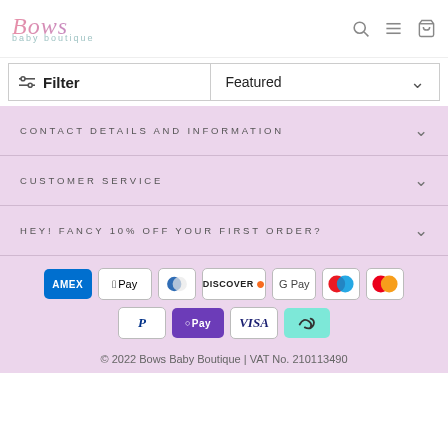[Figure (logo): Bows Baby Boutique logo with cursive pink/purple text and teal subtitle]
Filter
Featured
CONTACT DETAILS AND INFORMATION
CUSTOMER SERVICE
HEY! FANCY 10% OFF YOUR FIRST ORDER?
[Figure (other): Payment method icons: Amex, Apple Pay, Diners, Discover, G Pay, Maestro, Mastercard, PayPal, OPay, Visa, Laybuy]
© 2022 Bows Baby Boutique | VAT No. 210113490